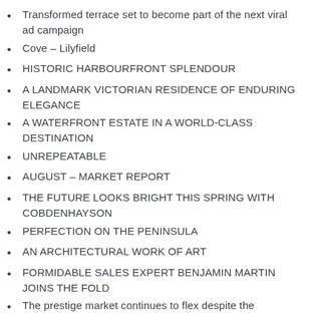Transformed terrace set to become part of the next viral ad campaign
Cove – Lilyfield
HISTORIC HARBOURFRONT SPLENDOUR
A LANDMARK VICTORIAN RESIDENCE OF ENDURING ELEGANCE
A WATERFRONT ESTATE IN A WORLD-CLASS DESTINATION
UNREPEATABLE
AUGUST – MARKET REPORT
THE FUTURE LOOKS BRIGHT THIS SPRING WITH COBDENHAYSON
PERFECTION ON THE PENINSULA
AN ARCHITECTURAL WORK OF ART
FORMIDABLE SALES EXPERT BENJAMIN MARTIN JOINS THE FOLD
The prestige market continues to flex despite the lockdown.
GETTING YOUR HOME IN TIP TOP SHAPE FOR THE SPRING SALES PERIOD
COVID-19 TENANT FAQ'S
COVID-19 BUYER FAQ...